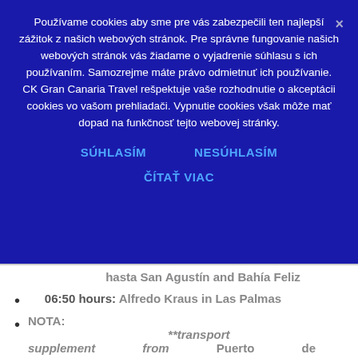Používame cookies aby sme pre vás zabezpečili ten najlepší zážitok z našich webových stránok. Pre správne fungovanie našich webových stránok vás žiadame o vyjadrenie súhlasu s ich používaním. Samozrejme máte právo odmietnuť ich používanie. CK Gran Canaria Travel rešpektuje vaše rozhodnutie o akceptácii cookies vo vašom prehliadači. Vypnutie cookies však môže mať dopad na funkčnosť tejto webovej stránky.
SÚHLASÍM
NESÚHLASÍM
ČÍTAŤ VIAC
hasta San Agustín and Bahía Feliz
06:50 hours: Alfredo Kraus in Las Palmas
NOTA: **transport supplement from Puerto de Mogán, Taurito, Playa del